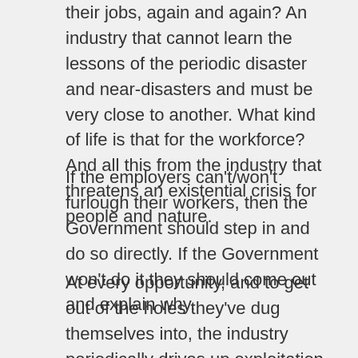their jobs, again and again?  An industry that cannot learn the lessons of the periodic disaster and near-disasters and must be very close to another.  What kind of life is that for the workforce?  And all this from the industry that threatens an existential crisis for people and nature.
If the employers can't/won't furlough their workers, then the Government should step in and do so directly.  If the Government won't do it they should come out and explain why.
At every opportunity, and to get out of the holes they've dug themselves into, the industry periodically drives up exploitation by driving down wages and increasing offshore work